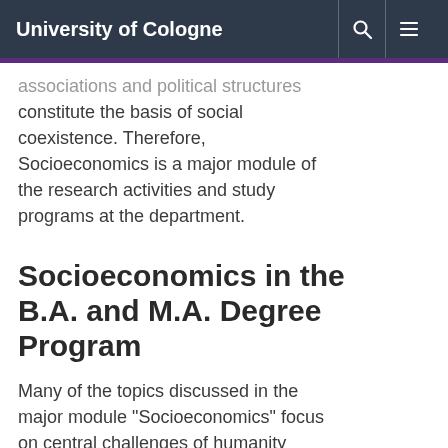University of Cologne
associations and political structures constitute the basis of social coexistence. Therefore, Socioeconomics is a major module of the research activities and study programs at the department.
Socioeconomics in the B.A. and M.A. Degree Program
Many of the topics discussed in the major module "Socioeconomics" focus on central challenges of humanity for which there is a need for intercultural expertise. Within the